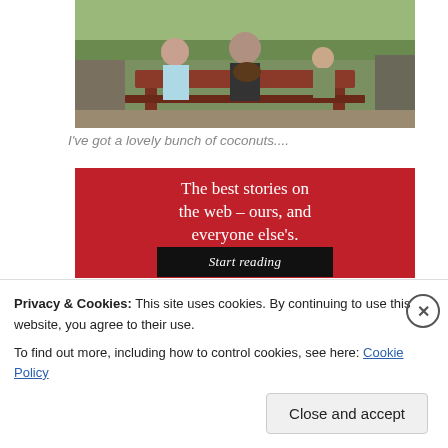[Figure (photo): Outdoor photo of two adults and a child at a picnic table, holding what appears to be coconuts, surrounded by trees and outdoor setting]
I've got a lovely bunch of coconuts....
[Figure (screenshot): Red advertisement banner reading 'The best stories on the web – ours, and everyone else's.' with a 'Start reading' button]
Privacy & Cookies: This site uses cookies. By continuing to use this website, you agree to their use.
To find out more, including how to control cookies, see here: Cookie Policy